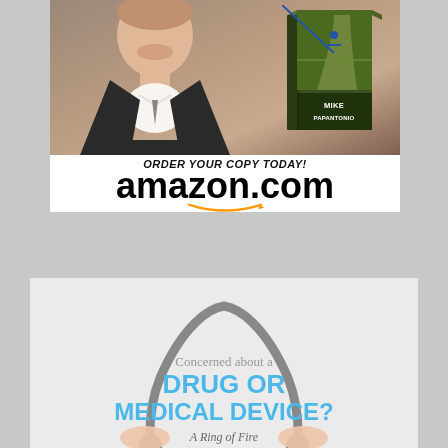[Figure (illustration): Advertisement banner showing a man in suit with a book by Mike Papantonio, above an Amazon.com order prompt with ORDER YOUR COPY TODAY! text and Amazon logo with smile arrow.]
[Figure (infographic): Advertisement showing a stethoscope held by hands, with text 'Concerned about a DRUG OR MEDICAL DEVICE?' and 'A Ring of Fire' at the bottom.]